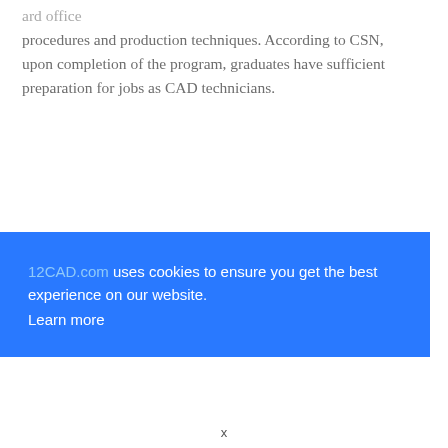...ard office procedures and production techniques. According to CSN, upon completion of the program, graduates have sufficient preparation for jobs as CAD technicians.
12CAD.com uses cookies to ensure you get the best experience on our website. Learn more
x